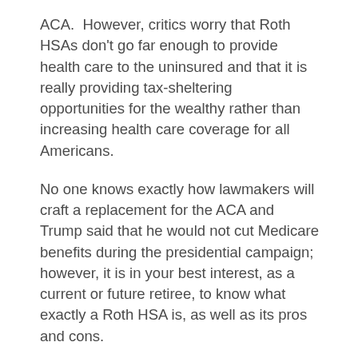ACA.  However, critics worry that Roth HSAs don't go far enough to provide health care to the uninsured and that it is really providing tax-sheltering opportunities for the wealthy rather than increasing health care coverage for all Americans.
No one knows exactly how lawmakers will craft a replacement for the ACA and Trump said that he would not cut Medicare benefits during the presidential campaign; however, it is in your best interest, as a current or future retiree, to know what exactly a Roth HSA is, as well as its pros and cons.
To understand the trade-offs of a Roth HSA, one has to know how regular HSAs work.
In 2003, HSAs were introduced to offer you triple tax advantages: First, contributions are tax-deductible. Second, those contributions can be invested and grow tax-free. Third, withdrawals aren't taxed as long as you